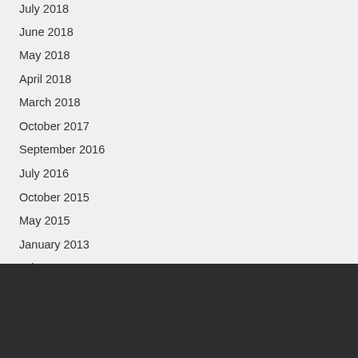July 2018 (partial)
June 2018
May 2018
April 2018
March 2018
October 2017
September 2016
July 2016
October 2015
May 2015
January 2013
July 2012